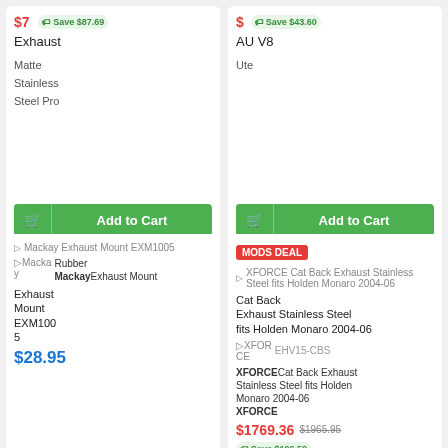Exhaust | Save $87.69 (top-left card partial)
AU V8 | Save $43.60 (top-right card partial)
Matte Stainless Steel Pro
Ute
Mackay Exhaust Mount EXM1005
Mackay Rubber Mackay Exhaust Mount EXM1005 | $28.95
MODS DEAL | XFORCE Cat Back Exhaust Stainless Steel fits Holden Monaro 2004-06
XFORCE | EHV15-CBS | XFORCE Cat Back Exhaust Stainless Steel fits Holden Monaro 2004-06 | $1769.36 | $1965.95 | Save $196.59 | Exhaust Stainless Steel fits